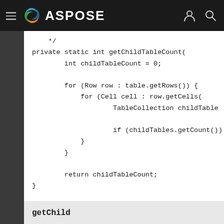ASPOSE
*/
private static int getChildTableCount(
        int childTableCount = 0;

        for (Row row : table.getRows()) {
            for (Cell cell : row.getCells(
                    TableCollection childTable

                    if (childTables.getCount())
            }
        }

        return childTableCount;
}
getChild
public Node getChild(int nodeType, int